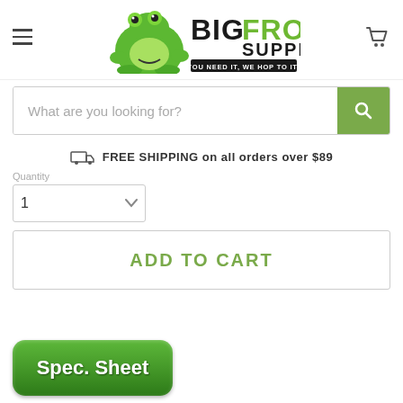[Figure (logo): Big Frog Supply logo with green frog illustration and tagline 'YOU NEED IT, WE HOP TO IT!']
What are you looking for?
FREE SHIPPING on all orders over $89
Quantity
1
ADD TO CART
[Figure (screenshot): Green 'Spec. Sheet' button]